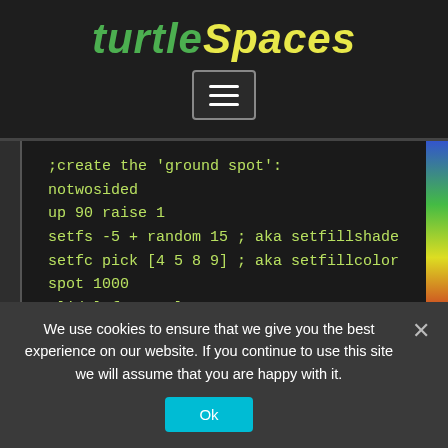turtleSpaces
[Figure (other): Hamburger menu button icon with three horizontal white lines on dark background with border]
;create the 'ground spot':
notwosided
up 90 raise 1
setfs -5 + random 15 ; aka setfillshade
setfc pick [4 5 8 9] ; aka setfillcolor
spot 1000
slideleft 200 lower 1
We use cookies to ensure that we give you the best experience on our website. If you continue to use this site we will assume that you are happy with it.